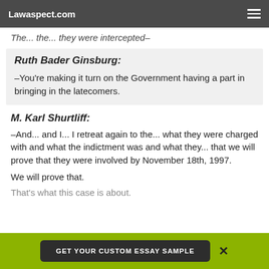Lawaspect.com
The... the... they were intercepted–
Ruth Bader Ginsburg:
–You're making it turn on the Government having a part in bringing in the latecomers.
M. Karl Shurtliff:
–And... and I... I retreat again to the... what they were charged with and what the indictment was and what they... that we will prove that they were involved by November 18th, 1997.
We will prove that.
That's what this case is about.
GET YOUR CUSTOM ESSAY SAMPLE